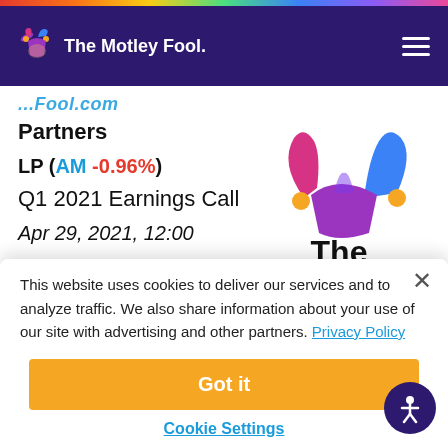The Motley Fool
Partners
LP (AM -0.96%)
Q1 2021 Earnings Call
Apr 29, 2021, 12:00
[Figure (logo): The Motley Fool logo with jester hat in purple, pink, and blue colors with yellow bells]
This website uses cookies to deliver our services and to analyze traffic. We also share information about your use of our site with advertising and other partners. Privacy Policy
Got it
Cookie Settings